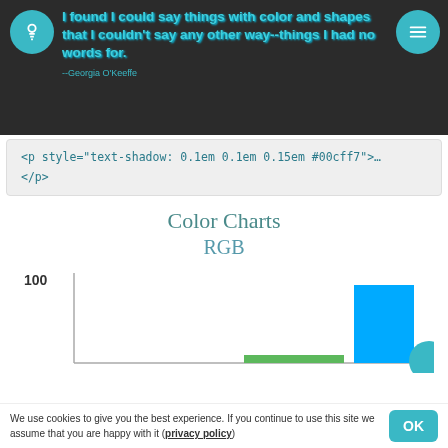I found I could say things with color and shapes that I couldn't say any other way--things I had no words for.
--Georgia O'Keeffe
<p style="text-shadow: 0.1em 0.1em 0.15em #00cff7">…
</p>
Color Charts
RGB
[Figure (bar-chart): RGB]
We use cookies to give you the best experience. If you continue to use this site we assume that you are happy with it (privacy policy)